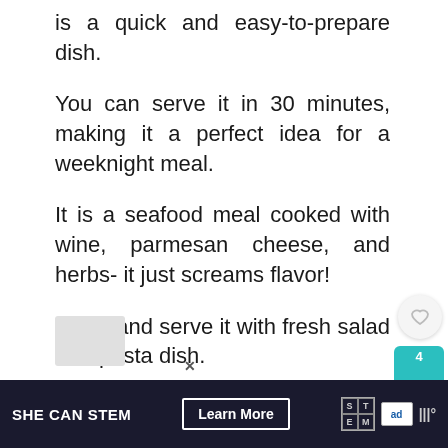is a quick and easy-to-prepare dish.
You can serve it in 30 minutes, making it a perfect idea for a weeknight meal.
It is a seafood meal cooked with wine, parmesan cheese, and herbs- it just screams flavor!
Enjoy and serve it with fresh salad or a pasta dish.
[Figure (screenshot): Floating share/like UI with heart icon button and teal share button showing count of 4, plus a 'What's Next' recommendation widget showing '22 BEST Chicken...']
[Figure (screenshot): Gray placeholder box at bottom left of content area]
SHE CAN STEM  Learn More  [STEM logo] [ad council logo] [MW logo]